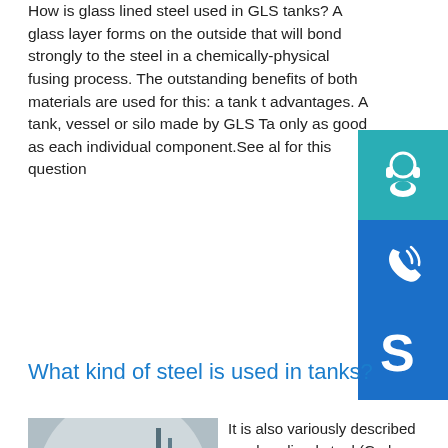How is glass lined steel used in GLS tanks? A glass layer forms on the outside that will bond strongly to the steel in a chemically-physical fusing process. The outstanding benefits of both materials are used for this: a tank that advantages. A tank, vessel or silo made by GLS Tanks is only as good as each individual component. See all results for this question
What kind of steel is used in tanks?
[Figure (photo): Industrial tank construction site showing a large white cylindrical tank, scaffolding, and a worker in blue coveralls walking on an elevated platform with pipes and equipment visible below]
It is also variously described as glass lined steel (GLS), glass coated steel (GCS), vitreous enamelled steel (VES) but however described, it is the ultimate solution for tanks and silos. See all results for this questionp.info INTRODUCTORY GUIDE TO GLASS-LINED STEEL ...Glass-lined steel's composite metal/glass material of con-struction provides the best of both worlds for the end user...
[Figure (illustration): Headset/customer support icon in teal square]
[Figure (illustration): Phone icon in blue square]
[Figure (illustration): Skype logo icon in blue square]